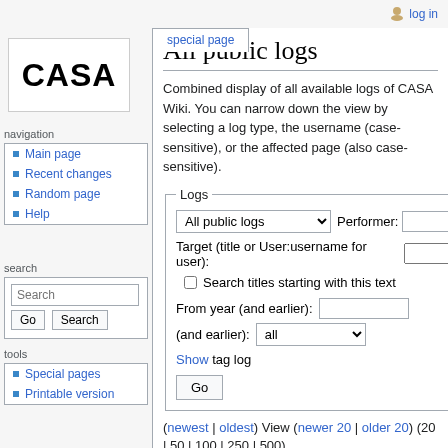log in
All public logs
Combined display of all available logs of CASA Wiki. You can narrow down the view by selecting a log type, the username (case-sensitive), or the affected page (also case-sensitive).
Logs
All public logs [dropdown] Performer: [input] Target (title or User:username for user): [input] Search titles starting with this text [checkbox] From year (and earlier): [input] (and earlier): all [dropdown] Show tag log [Go button]
( newest | oldest ) View ( newer 20 | older 20 ) (20 | 50 | 100 | 250 | 500)
Main page
Recent changes
Random page
Help
Special pages
Printable version